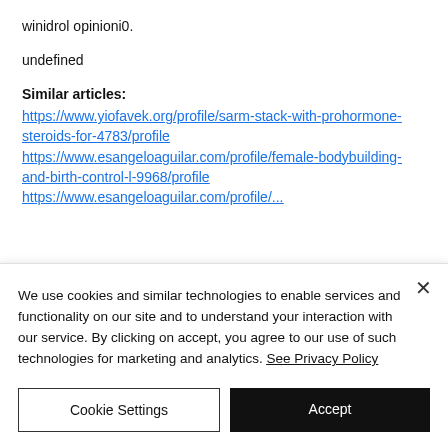winidrol opinioni0.
undefined
Similar articles:
https://www.yiofavek.org/profile/sarm-stack-with-prohormone-steroids-for-4783/profile https://www.esangeloaguilar.com/profile/female-bodybuilding-and-birth-control-l-9968/profile
We use cookies and similar technologies to enable services and functionality on our site and to understand your interaction with our service. By clicking on accept, you agree to our use of such technologies for marketing and analytics. See Privacy Policy
Cookie Settings
Accept